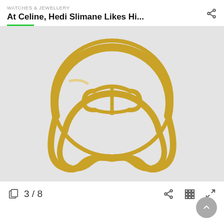WATCHES & JEWELLERY
At Celine, Hedi Slimane Likes Hi...
[Figure (photo): A gold Celine ring with the brand's arc de triomphe logo, open band design with two curved wires crossing below, photographed on a light grey background.]
3 / 8